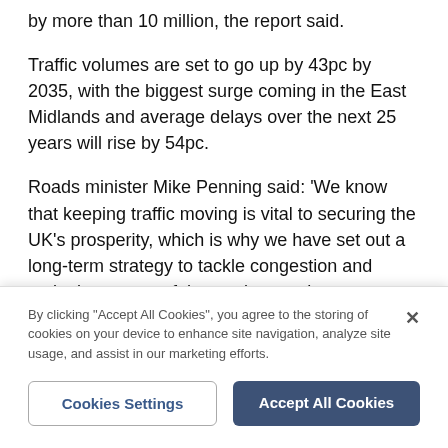by more than 10 million, the report said.
Traffic volumes are set to go up by 43pc by 2035, with the biggest surge coming in the East Midlands and average delays over the next 25 years will rise by 54pc.
Roads minister Mike Penning said: 'We know that keeping traffic moving is vital to securing the UK's prosperity, which is why we have set out a long-term strategy to tackle congestion and make better use of the road network.
'This includes a planned programme of major
By clicking "Accept All Cookies", you agree to the storing of cookies on your device to enhance site navigation, analyze site usage, and assist in our marketing efforts.
Cookies Settings
Accept All Cookies